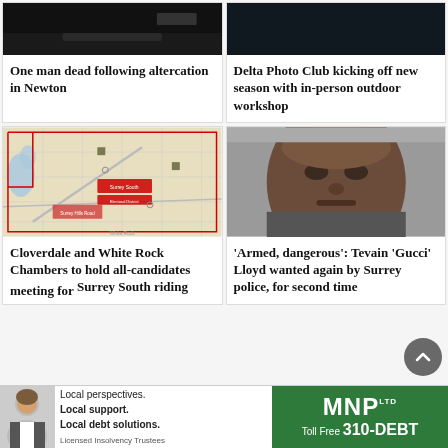[Figure (photo): Dark image, appears to be a vehicle, top of first article card]
One man dead following altercation in Newton
[Figure (photo): Dark image, top of second article card (Delta Photo Club)]
Delta Photo Club kicking off new season with in-person outdoor workshop
[Figure (map): Map showing Surrey South electoral district boundaries]
Cloverdale and White Rock Chambers to hold all-candidates meeting for Surrey South riding
[Figure (photo): Mugshot photo of a man, Tevain 'Gucci' Lloyd]
'Armed, dangerous': Tevain 'Gucci' Lloyd wanted again by Surrey police, for second time
[Figure (infographic): MNP LTD advertisement: Local perspectives. Local support. Local debt solutions. Licensed Insolvency Trustees. Toll Free 310-DEBT]